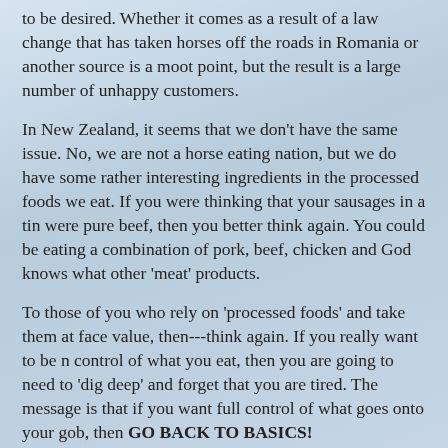to be desired. Whether it comes as a result of a law change that has taken horses off the roads in Romania or another source is a moot point, but the result is a large number of unhappy customers.
In New Zealand, it seems that we don’t have the same issue. No, we are not a horse eating nation, but we do have some rather interesting ingredients in the processed foods we eat. If you were thinking that your sausages in a tin were pure beef, then you better think again. You could be eating a combination of pork, beef, chicken and God knows what other ‘meat’ products.
To those of you who rely on ‘processed foods’ and take them at face value, then---think again. If you really want to be n control of what you eat, then you are going to need to ‘dig deep’ and forget that you are tired. The message is that if you want full control of what goes onto your gob, then GO BACK TO BASICS!
Yes, buy your meat form the butcher, where you can be